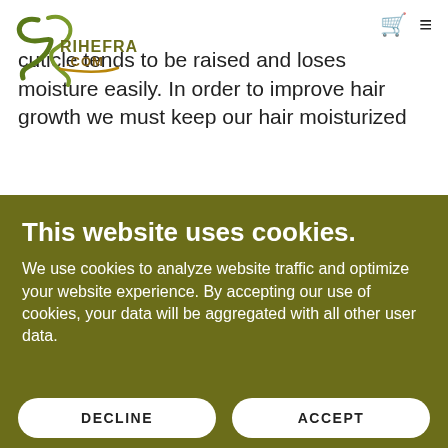SRIHEFRA.COM [logo] [cart icon] [menu icon]
moisture to stay within the hair. Our hair cuticle tends to be raised and loses moisture easily. In order to improve hair growth we must keep our hair moisturized
This website uses cookies.
We use cookies to analyze website traffic and optimize your website experience. By accepting our use of cookies, your data will be aggregated with all other user data.
DECLINE
ACCEPT